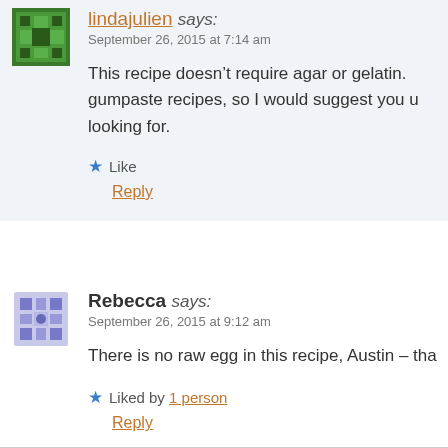lindajulien says:
September 26, 2015 at 7:14 am
This recipe doesn't require agar or gelatin. gumpaste recipes, so I would suggest you u looking for.
Like
Reply
Rebecca says:
September 26, 2015 at 9:12 am
There is no raw egg in this recipe, Austin – tha
Liked by 1 person
Reply